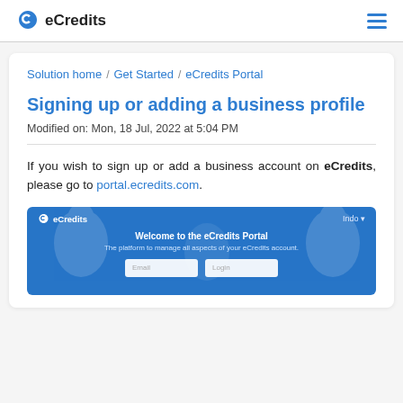eCredits
Solution home / Get Started / eCredits Portal
Signing up or adding a business profile
Modified on: Mon, 18 Jul, 2022 at 5:04 PM
If you wish to sign up or add a business account on eCredits, please go to portal.ecredits.com.
[Figure (screenshot): Screenshot of the eCredits Portal welcome page showing logo, 'Welcome to the eCredits Portal' heading, 'The platform to manage all aspects of your eCredits account.' subtitle, and a login form with email and password fields.]